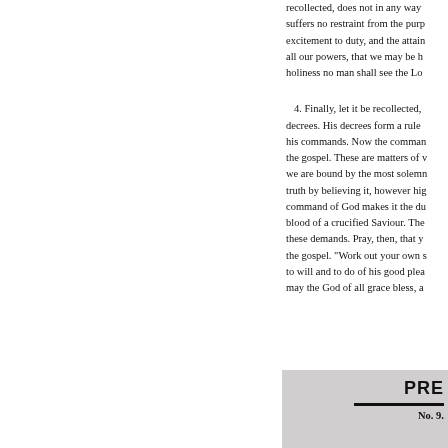recollected, does not in any way suffers no restraint from the purp excitement to duty, and the attain all our powers, that we may be h holiness no man shall see the Lo
4. Finally, let it be recollected, decrees. His decrees form a rule his commands. Now the commar the gospel. These are matters of we are bound by the most solem truth by believing it, however hig command of God makes it the du blood of a crucified Saviour. The these demands. Pray, then, that y the gospel. "Work out your own s to will and to do of his good plea may the God of all grace bless, a
PRE
No. 9.